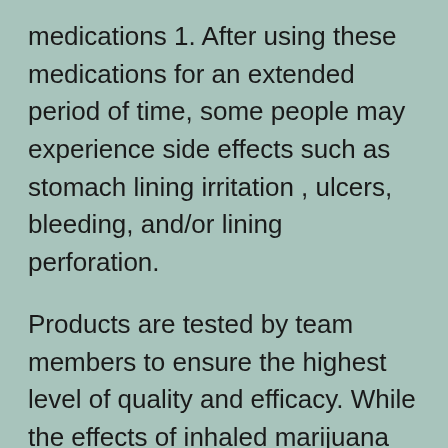medications 1. After using these medications for an extended period of time, some people may experience side effects such as stomach lining irritation , ulcers, bleeding, and/or lining perforation.
Products are tested by team members to ensure the highest level of quality and efficacy. While the effects of inhaled marijuana only last about 1-3 hours on average , the effects of edibles can peak between 2-5 hours after consumption and stay with you for 7-12 hours. Our mix-and-match options are designed with variety in mind. We have so many outstanding